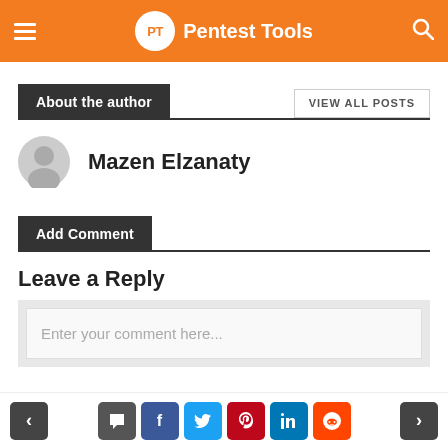PT Pentest Tools
About the author
VIEW ALL POSTS
Mazen Elzanaty
Add Comment
Leave a Reply
Enter your comment here...
Navigation and social share buttons